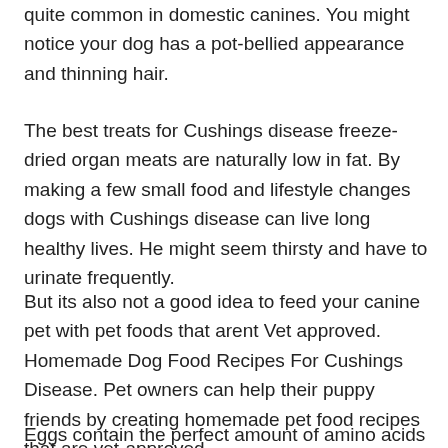quite common in domestic canines. You might notice your dog has a pot-bellied appearance and thinning hair.
The best treats for Cushings disease freeze-dried organ meats are naturally low in fat. By making a few small food and lifestyle changes dogs with Cushings disease can live long healthy lives. He might seem thirsty and have to urinate frequently.
But its also not a good idea to feed your canine pet with pet foods that arent Vet approved. Homemade Dog Food Recipes For Cushings Disease. Pet owners can help their puppy friends by creating homemade pet food recipes that are vet-approved.
Eggs contain the perfect amount of amino acids to